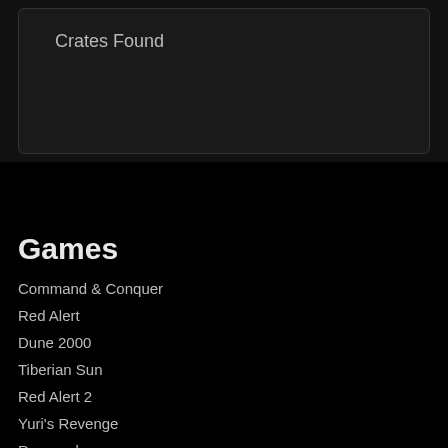Crates Found
Games
Command & Conquer
Red Alert
Dune 2000
Tiberian Sun
Red Alert 2
Yuri's Revenge
Renegade